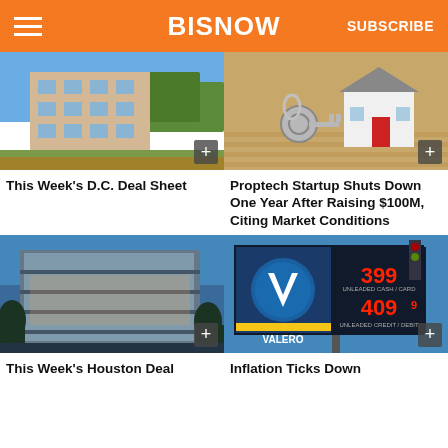BISNOW | SUBSCRIBE
[Figure (photo): Exterior of a modern apartment building with blue sky]
This Week's D.C. Deal Sheet
[Figure (photo): House keys and a miniature model house on wood surface]
Proptech Startup Shuts Down One Year After Raising $100M, Citing Market Conditions
[Figure (photo): Modern commercial building exterior at dusk with glass facade]
This Week's Houston Deal
[Figure (photo): Valero gas station sign showing prices 3.99 and 4.09]
Inflation Ticks Down